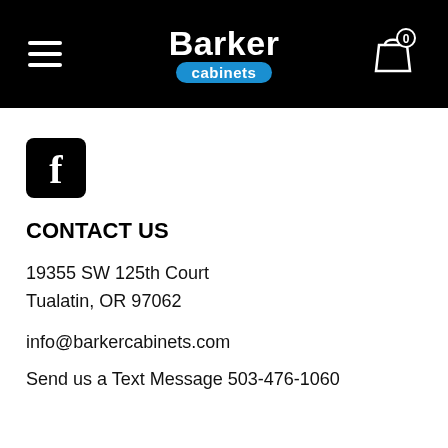Barker cabinets
[Figure (logo): Facebook icon - black rounded square with white letter f]
CONTACT US
19355 SW 125th Court
Tualatin, OR 97062
info@barkercabinets.com
Send us a Text Message 503-476-1060